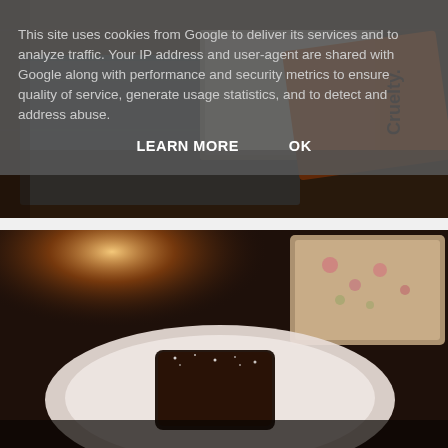[Figure (photo): Top photo showing books and an orange book/card with text 'Cruelty.' visible, on a wooden table surface, dimly lit with warm tones.]
This site uses cookies from Google to deliver its services and to analyze traffic. Your IP address and user-agent are shared with Google along with performance and security metrics to ensure quality of service, generate usage statistics, and to detect and address abuse.
LEARN MORE    OK
[Figure (photo): Bottom photo showing a dark chocolate brownie or cake slice on a white round plate, with a floral-patterned book or notebook visible to the right, warm candlelight in background.]